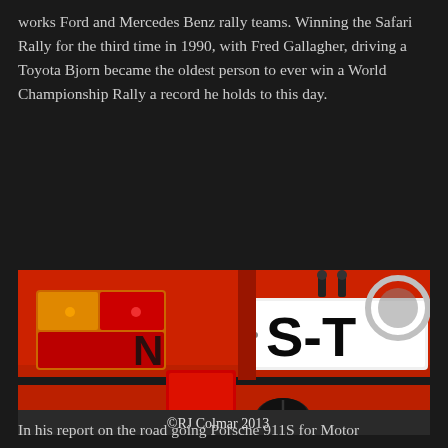works Ford and Mercedes Benz rally teams. Winning the Safari Rally for the third time in 1990, with Fred Gallagher, driving a Toyota Bjorn became the oldest person to ever win a World Championship Rally a record he holds to this day.
[Figure (photo): Close-up rear view of a red Porsche with license plate showing 'S-T', tail lights, and an exhaust pipe visible. Watermark reads '©RJ Colmar 2013'.]
In his report on the road going Porsche 911S for Motor